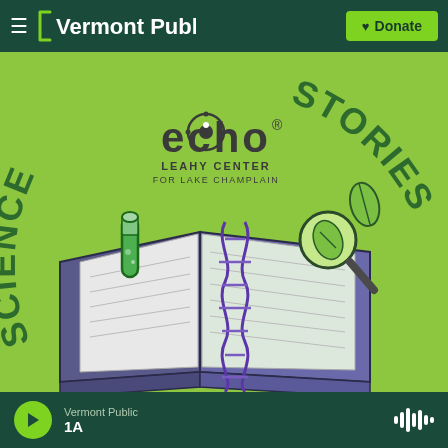Vermont Public | Donate
[Figure (illustration): Science Stories podcast artwork featuring ECHO Leahy Center for Lake Champlain logo on a bright green background. The words 'SCIENCE' and 'STORIES' arc around the top. In the center is an open book with illustrated scientific items: a test tube, a DNA double helix, and a magnifying glass with a leaf.]
Vermont Public | 1A | audio player controls